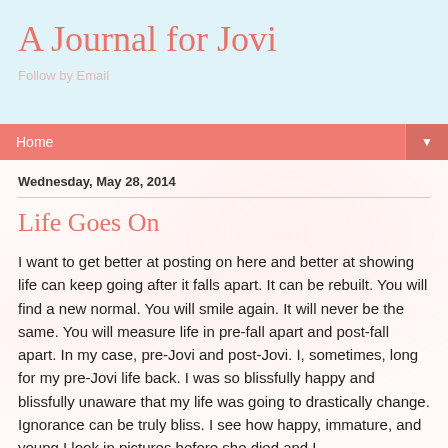A Journal for Jovi
Follow by Email
Home ▼
Wednesday, May 28, 2014
Life Goes On
I want to get better at posting on here and better at showing life can keep going after it falls apart. It can be rebuilt. You will find a new normal. You will smile again. It will never be the same. You will measure life in pre-fall apart and post-fall apart. In my case, pre-Jovi and post-Jovi. I, sometimes, long for my pre-Jovi life back. I was so blissfully happy and blissfully unaware that my life was going to drastically change. Ignorance can be truly bliss. I see how happy, immature, and young I look in pictures before she died and I